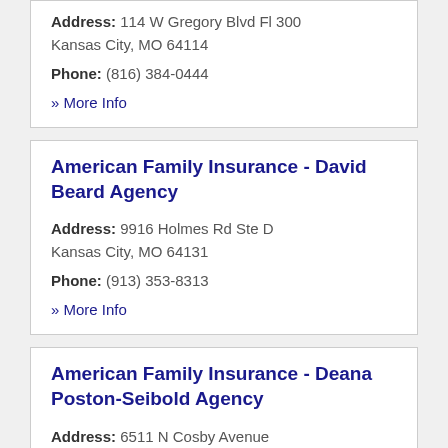Address: 114 W Gregory Blvd Fl 300 Kansas City, MO 64114
Phone: (816) 384-0444
» More Info
American Family Insurance - David Beard Agency
Address: 9916 Holmes Rd Ste D Kansas City, MO 64131
Phone: (913) 353-8313
» More Info
American Family Insurance - Deana Poston-Seibold Agency
Address: 6511 N Cosby Avenue